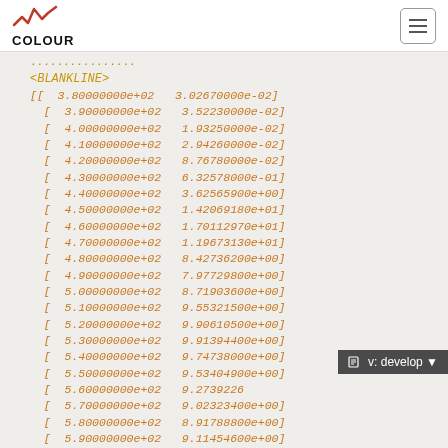COLOUR
<BLANKLINE>
[[  3.80000000e+02   3.02670000e-02]
  [  3.90000000e+02   3.52230000e-02]
  [  4.00000000e+02   1.93250000e-02]
  [  4.10000000e+02   2.94260000e-02]
  [  4.20000000e+02   8.76780000e-02]
  [  4.30000000e+02   6.32578000e-01]
  [  4.40000000e+02   3.62565900e+00]
  [  4.50000000e+02   1.42069180e+01]
  [  4.60000000e+02   1.70112970e+01]
  [  4.70000000e+02   1.19673130e+01]
  [  4.80000000e+02   8.42736200e+00]
  [  4.90000000e+02   7.97729800e+00]
  [  5.00000000e+02   8.71903600e+00]
  [  5.10000000e+02   9.55321500e+00]
  [  5.20000000e+02   9.90610500e+00]
  [  5.30000000e+02   9.91394400e+00]
  [  5.40000000e+02   9.74738000e+00]
  [  5.50000000e+02   9.53404900e+00]
  [  5.60000000e+02   9.27392260e+00]
  [  5.70000000e+02   9.02323400e+00]
  [  5.80000000e+02   8.91788800e+00]
  [  5.90000000e+02   9.11454600e+00]